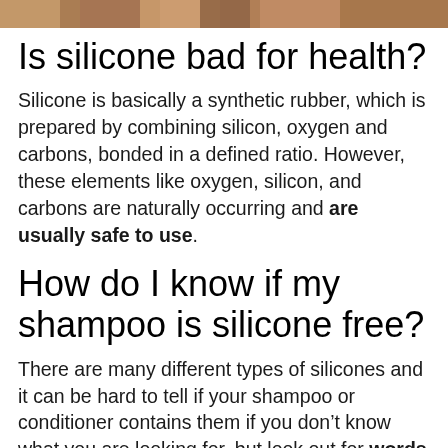[Figure (photo): Cropped photo of people, partially visible at top of page]
Is silicone bad for health?
Silicone is basically a synthetic rubber, which is prepared by combining silicon, oxygen and carbons, bonded in a defined ratio. However, these elements like oxygen, silicon, and carbons are naturally occurring and are usually safe to use.
How do I know if my shampoo is silicone free?
There are many different types of silicones and it can be hard to tell if your shampoo or conditioner contains them if you don’t know what you are looking for, but look out for words ending in ‘cone’ on the